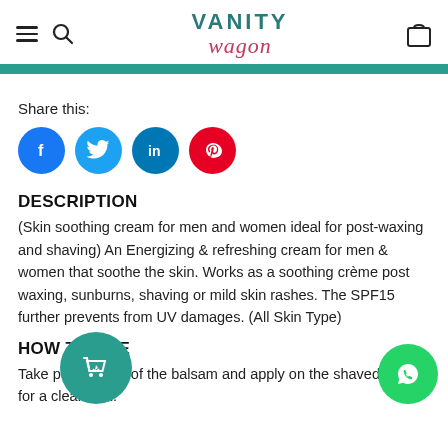Vanity Wagon — navigation header with hamburger menu, search, logo, and cart icon
Share this:
[Figure (infographic): Social sharing icons: Facebook (blue circle), Twitter (light blue circle), LinkedIn (dark blue circle), Pinterest (red circle)]
DESCRIPTION
(Skin soothing cream for men and women ideal for post-waxing and shaving) An Energizing & refreshing cream for men & women that soothe the skin. Works as a soothing crème post waxing, sunburns, shaving or mild skin rashes. The SPF15 further prevents from UV damages. (All Skin Type)
HOW TO USE
Take peanut size of the balsam and apply on the shaved area for a clean feel.